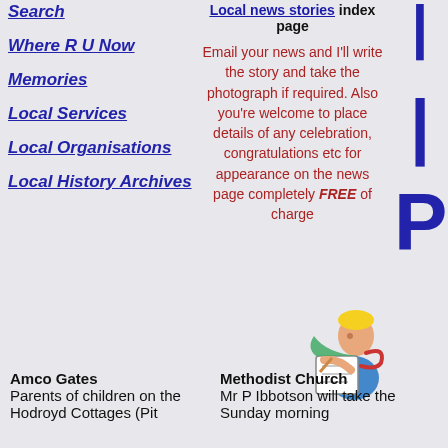Search
Where R U Now
Memories
Local Services
Local Organisations
Local History Archives
Local news stories index page
Email your news and I'll write the story and take the photograph if required. Also you're welcome to place details of any celebration, congratulations etc for appearance on the news page completely FREE of charge
[Figure (illustration): Cartoon illustration of a reporter reading a notepad]
Amco Gates
Parents of children on the Hodroyd Cottages
Methodist Church
Mr P Ibbotson will take the Sunday morning (Pit